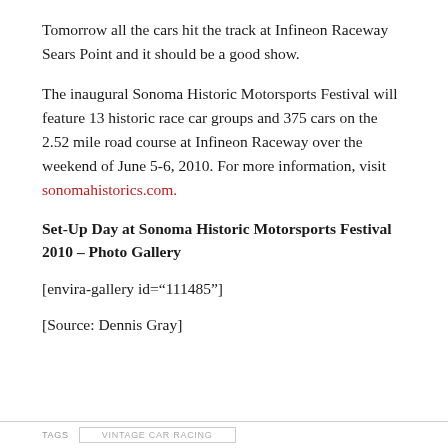Tomorrow all the cars hit the track at Infineon Raceway Sears Point and it should be a good show.
The inaugural Sonoma Historic Motorsports Festival will feature 13 historic race car groups and 375 cars on the 2.52 mile road course at Infineon Raceway over the weekend of June 5-6, 2010. For more information, visit sonomahistorics.com.
Set-Up Day at Sonoma Historic Motorsports Festival 2010 – Photo Gallery
[envira-gallery id="111485"]
[Source: Dennis Gray]
TAGS   VINTAGE CAR RACING